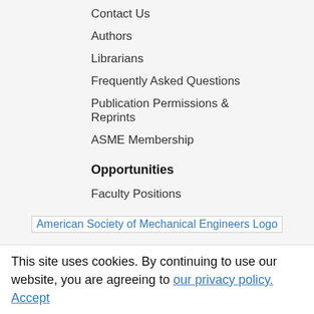Contact Us
Authors
Librarians
Frequently Asked Questions
Publication Permissions & Reprints
ASME Membership
Opportunities
Faculty Positions
[Figure (logo): American Society of Mechanical Engineers Logo — broken image placeholder with alt text]
[Figure (infographic): Row of four social media icon buttons: a people/group icon (ResearchGate or similar), Facebook f icon, Twitter bird icon, LinkedIn in icon]
This site uses cookies. By continuing to use our website, you are agreeing to our privacy policy. Accept